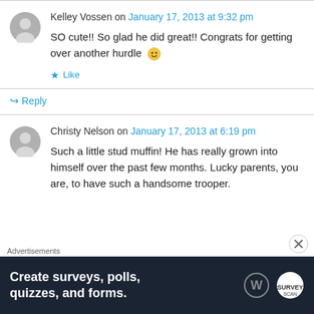Kelley Vossen on January 17, 2013 at 9:32 pm
SO cute!! So glad he did great!! Congrats for getting over another hurdle 🙂
★ Like
↳ Reply
Christy Nelson on January 17, 2013 at 6:19 pm
Such a little stud muffin! He has really grown into himself over the past few months. Lucky parents, you are, to have such a handsome trooper.
Advertisements
[Figure (screenshot): Advertisement banner: dark background with text 'Create surveys, polls, quizzes, and forms.' with WordPress and Survey logos]